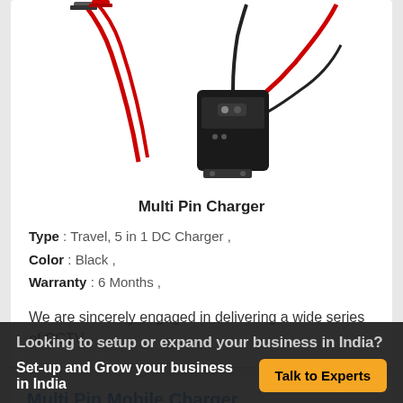[Figure (photo): Photo of a Multi Pin Charger with red wires, alligator clips, and a black switch box]
Multi Pin Charger
Type : Travel, 5 in 1 DC Charger ,
Color : Black ,
Warranty : 6 Months ,
We are sincerely engaged in delivering a wide series of CCTV
Multi Pin Mobile Charger
Looking to setup or expand your business in India?
Set-up and Grow your business in India
Talk to Experts